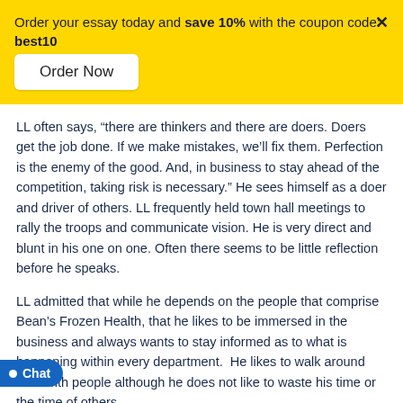Order your essay today and save 10% with the coupon code: best10
Order Now
LL often says, “there are thinkers and there are doers. Doers get the job done. If we make mistakes, we’ll fix them. Perfection is the enemy of the good. And, in business to stay ahead of the competition, taking risk is necessary.” He sees himself as a doer and driver of others. LL frequently held town hall meetings to rally the troops and communicate vision. He is very direct and blunt in his one on one. Often there seems to be little reflection before he speaks.
LL admitted that while he depends on the people that comprise Bean’s Frozen Health, that he likes to be immersed in the business and always wants to stay informed as to what is happening within every department.  He likes to walk around and chat with people although he does not like to waste his time or the time of others.